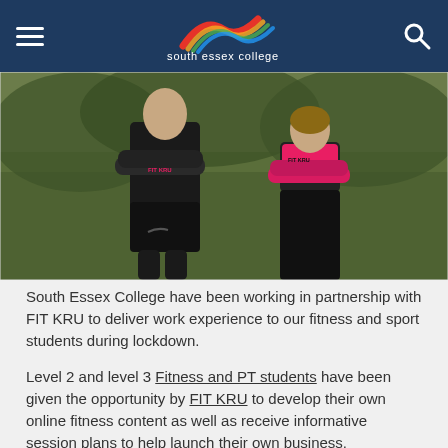south essex college
[Figure (photo): Two fitness trainers standing with arms crossed wearing FIT KRU branded sportswear, outdoors against a grassy background.]
South Essex College have been working in partnership with FIT KRU to deliver work experience to our fitness and sport students during lockdown.
Level 2 and level 3 Fitness and PT students have been given the opportunity by FIT KRU to develop their own online fitness content as well as receive informative session plans to help launch their own business.
Launched in 2020, FIT KRU is an online fitness platform